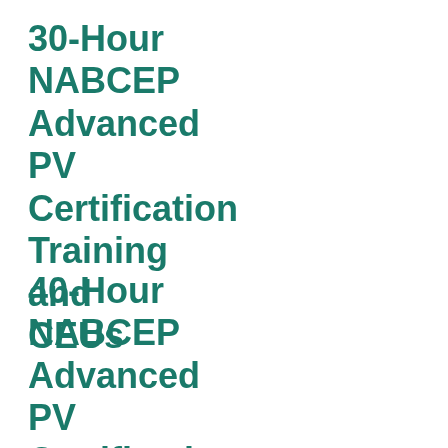30-Hour NABCEP Advanced PV Certification Training and CEUs
40-Hour NABCEP Advanced PV Certification Training and